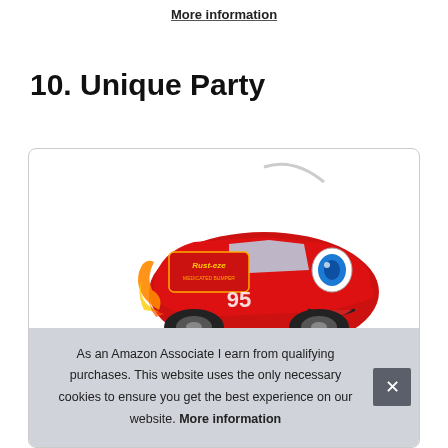More information
10. Unique Party
[Figure (photo): A Lightning McQueen (Rust-eze) themed piñata shaped like the Disney/Pixar Cars character, red color with yellow flame designs and blue eyes, with a hanging rope on top. Colorful striped item visible at the bottom.]
As an Amazon Associate I earn from qualifying purchases. This website uses the only necessary cookies to ensure you get the best experience on our website. More information